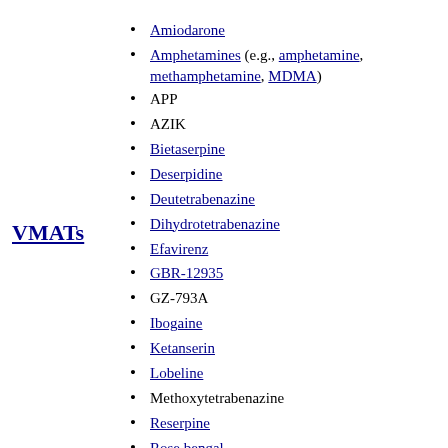Roxindole
Amiodarone
Amphetamines (e.g., amphetamine, methamphetamine, MDMA)
APP
AZIK
Bietaserpine
Deserpidine
Deutetrabenazine
Dihydrotetrabenazine
Efavirenz
GBR-12935
GZ-793A
Ibogaine
Ketanserin
Lobeline
Methoxytetrabenazine
Reserpine
Rose bengal
Tetrabenazine
Valbenazine
Vanoxerine (GBR-12909)
DAT enhancers: Luteolin
VMATs